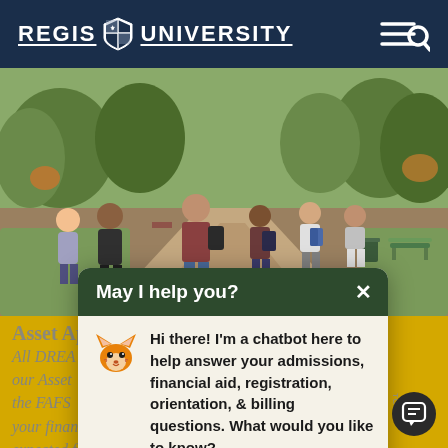REGIS UNIVERSITY
[Figure (photo): Campus walkway photo showing students walking along a paved path with trees and greenery in the background. Students carry backpacks. A park bench and trash can are visible on the right.]
[Figure (screenshot): Chatbot popup overlay with dark green header reading 'May I help you?' and an X close button. Below is a fox mascot icon next to the message: 'Hi there! I'm a chatbot here to help answer your admissions, financial aid, registration, orientation, & billing questions. What would you like to know?']
Asset Application Form
All DREAMER students must complete our Asset Application form is similar to the FAFSA and allows us to review your financial information and determine a expected family contribution number (EFC) without the FAFSA.